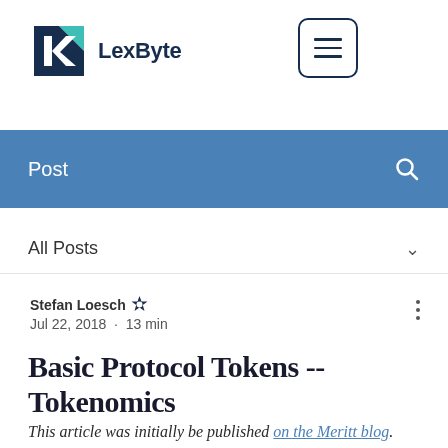LexByte
Post
All Posts
Stefan Loesch · Jul 22, 2018 · 13 min
Basic Protocol Tokens -- Tokenomics
This article was initially be published on the Meritt blog. This is an instalment in a series of blog posts on crypto token